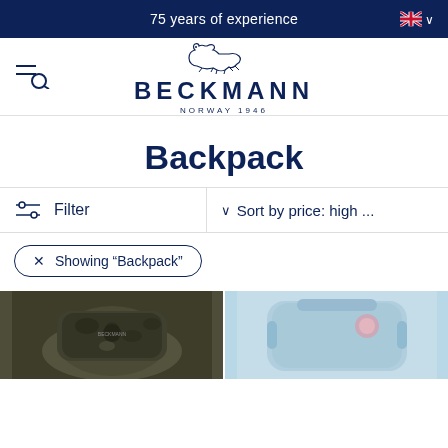75 years of experience
[Figure (logo): Beckmann Norway 1946 logo with polar bear illustration]
Backpack
Filter   Sort by price: high ...
× Showing "Backpack"
[Figure (photo): Two product thumbnails: dark camouflage backpack on left, light blue backpack on right]